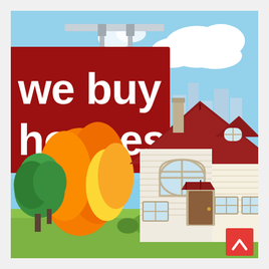[Figure (illustration): Colorful cartoon illustration of a real estate scene. A large dark red/maroon sign reading 'we buy houses' in bold white text is mounted on a metal pole with a crossbar at the top. In the background: light blue sky with white fluffy clouds, stylized city buildings in pale blue/gray. In the foreground: a suburban house with a dark red/maroon pitched roof, cream/beige siding, arched windows, a covered front entry with a brown door, and smaller windows. To the left are autumn trees in orange, yellow and green foliage. Green lawn in front. A red square button with a white upward-pointing chevron (^) appears in the bottom-right corner of the image.]